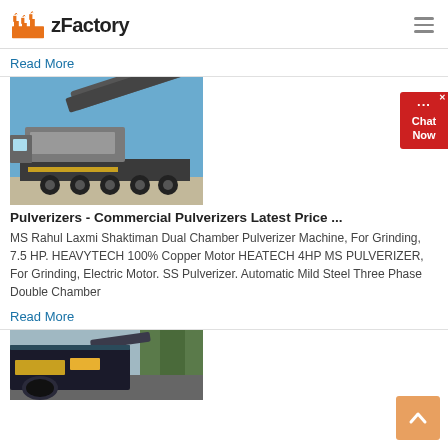zFactory
Read More
[Figure (photo): Large industrial mobile crushing/screening machine on a flatbed truck trailer, photographed outdoors against a blue sky.]
Pulverizers - Commercial Pulverizers Latest Price ...
MS Rahul Laxmi Shaktiman Dual Chamber Pulverizer Machine, For Grinding, 7.5 HP. HEAVYTECH 100% Copper Motor HEATECH 4HP MS PULVERIZER, For Grinding, Electric Motor. SS Pulverizer. Automatic Mild Steel Three Phase Double Chamber
Read More
[Figure (photo): Industrial road-milling or paving machine photographed outdoors, partially visible at bottom of page.]